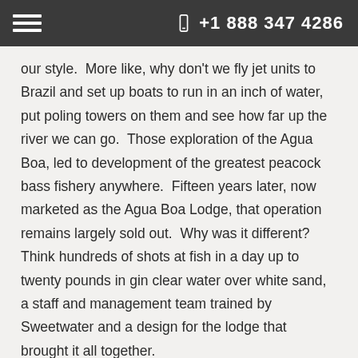+1 888 347 4286
our style.  More like, why don't we fly jet units to Brazil and set up boats to run in an inch of water, put poling towers on them and see how far up the river we can go.  Those exploration of the Agua Boa, led to development of the greatest peacock bass fishery anywhere.  Fifteen years later, now marketed as the Agua Boa Lodge, that operation remains largely sold out.  Why was it different?  Think hundreds of shots at fish in a day up to twenty pounds in gin clear water over white sand,  a staff and management team trained by Sweetwater and a design for the lodge that brought it all together.
The most notable fishing expeditions we have run are Taimen